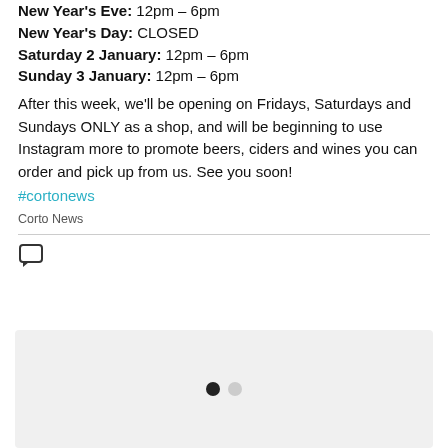New Year's Eve: 12pm – 6pm
New Year's Day: CLOSED
Saturday 2 January: 12pm – 6pm
Sunday 3 January: 12pm – 6pm
After this week, we'll be opening on Fridays, Saturdays and Sundays ONLY as a shop, and will be beginning to use Instagram more to promote beers, ciders and wines you can order and pick up from us. See you soon!
#cortonews
Corto News
[Figure (other): Image carousel placeholder with two navigation dots (one filled, one empty)]